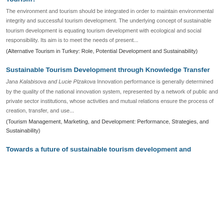Tourism?
The environment and tourism should be integrated in order to maintain environmental integrity and successful tourism development. The underlying concept of sustainable tourism development is equating tourism development with ecological and social responsibility. Its aim is to meet the needs of present...
(Alternative Tourism in Turkey: Role, Potential Development and Sustainability)
Sustainable Tourism Development through Knowledge Transfer
Jana Kalabisova and Lucie Plzakova Innovation performance is generally determined by the quality of the national innovation system, represented by a network of public and private sector institutions, whose activities and mutual relations ensure the process of creation, transfer, and use...
(Tourism Management, Marketing, and Development: Performance, Strategies, and Sustainability)
Towards a future of sustainable tourism development and